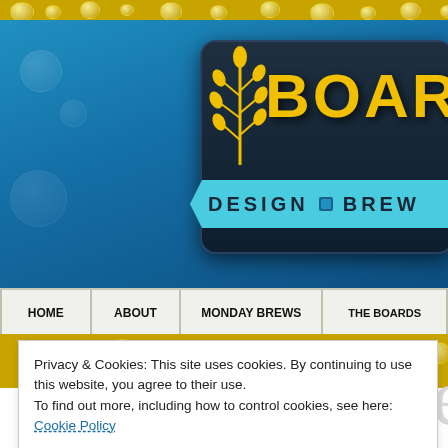[Figure (screenshot): Website header with blue and gold design, wheat logo, 'BOARDS' text in gold, 'DESIGN BREW' ribbon, navigation bar with HOME, ABOUT, MONDAY BREWS, THE BOARDS]
Privacy & Cookies: This site uses cookies. By continuing to use this website, you agree to their use.
To find out more, including how to control cookies, see here: Cookie Policy
Close and accept
BREWS
SEP 30
Posted by edpmarriott